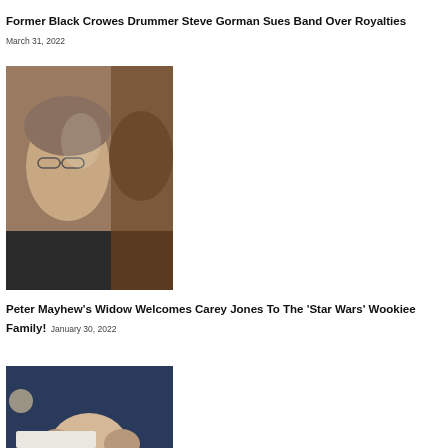[Figure (photo): Top portion of a photo related to the Black Crowes / Steve Gorman article, cropped at the top]
Former Black Crowes Drummer Steve Gorman Sues Band Over Royalties March 31, 2022
[Figure (photo): Photo of an elderly man (Peter Mayhew) smiling next to a Wookiee/Chewbacca mask or costume]
Peter Mayhew's Widow Welcomes Carey Jones To The 'Star Wars' Wookiee Family! January 30, 2022
[Figure (photo): Partial photo showing the top of a person's head, cropped at the bottom of the page]